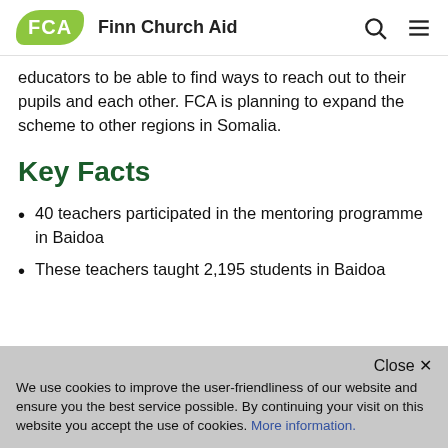FCA Finn Church Aid
educators to be able to find ways to reach out to their pupils and each other. FCA is planning to expand the scheme to other regions in Somalia.
Key Facts
40 teachers participated in the mentoring programme in Baidoa
These teachers taught 2,195 students in Baidoa
We use cookies to improve the user-friendliness of our website and ensure you the best service possible. By continuing your visit on this website you accept the use of cookies. More information.